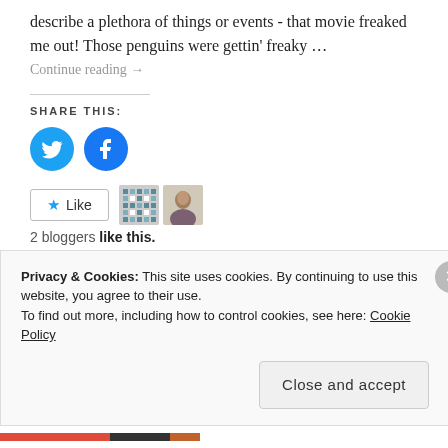describe a plethora of things or events - that movie freaked me out! Those penguins were gettin' freaky …
Continue reading →
SHARE THIS:
[Figure (illustration): Twitter and Facebook social share icon buttons (blue circles with white logos)]
[Figure (illustration): Like button with star icon, and two blogger avatar thumbnails]
2 bloggers like this.
Leave a comment
Privacy & Cookies: This site uses cookies. By continuing to use this website, you agree to their use.
To find out more, including how to control cookies, see here: Cookie Policy
Close and accept